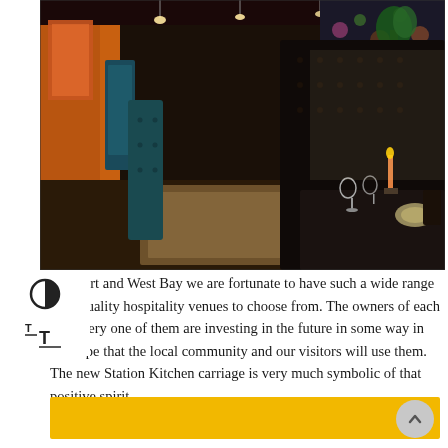[Figure (photo): Interior of a restaurant carriage — long dark tufted leather banquette seating along both sides, floral patterned wallpaper, candlelit tables with glassware and place settings, warm atmospheric lighting, colourful tropical botanical decor.]
Bridport and West Bay we are fortunate to have such a wide range high quality hospitality venues to choose from. The owners of each and every one of them are investing in the future in some way in the hope that the local community and our visitors will use them. The new Station Kitchen carriage is very much symbolic of that positive spirit.
[Figure (other): Yellow/amber coloured banner bar at bottom of page, with a circular scroll-to-top button on the right.]